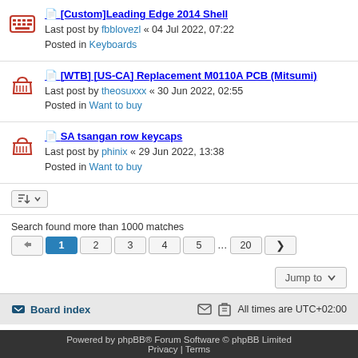[Custom]Leading Edge 2014 Shell
Last post by fbblovezl « 04 Jul 2022, 07:22
Posted in Keyboards
[WTB] [US-CA] Replacement M0110A PCB (Mitsumi)
Last post by theosuxxx « 30 Jun 2022, 02:55
Posted in Want to buy
SA tsangan row keycaps
Last post by phinix « 29 Jun 2022, 13:38
Posted in Want to buy
Search found more than 1000 matches
Board index   All times are UTC+02:00
Powered by phpBB® Forum Software © phpBB Limited
Privacy | Terms